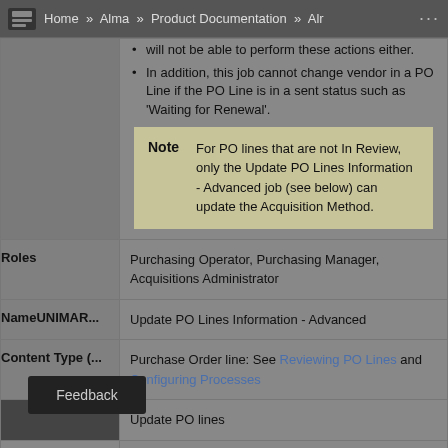Home » Alma » Product Documentation » Alr ...
will not be able to perform these actions either.
In addition, this job cannot change vendor in a PO Line if the PO Line is in a sent status such as 'Waiting for Renewal'.
Note: For PO lines that are not In Review, only the Update PO Lines Information - Advanced job (see below) can update the Acquisition Method.
| Field | Value |
| --- | --- |
| Roles | Purchasing Operator, Purchasing Manager, Acquisitions Administrator |
| NameUNIMAR... | Update PO Lines Information - Advanced |
| Content Type (… | Purchase Order line: See Reviewing PO Lines and Configuring Processes |
|  | Update PO lines |
|  | Updates PO line attributes after an order is created |